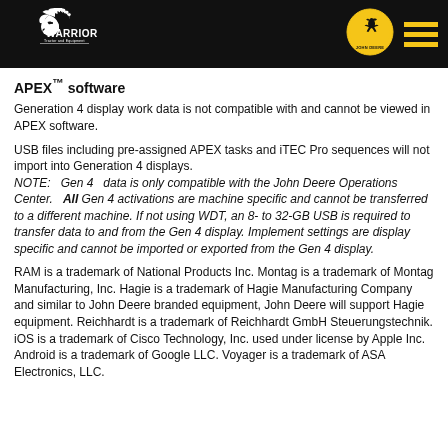[Figure (logo): Warrior Tractor and Equipment logo (white text with Native American headdress graphic on black background) and John Deere logo (deer jumping in yellow circle on black) with hamburger menu icon]
APEX™ software
Generation 4 display work data is not compatible with and cannot be viewed in APEX software.
USB files including pre-assigned APEX tasks and iTEC Pro sequences will not import into Generation 4 displays. NOTE:  Gen 4  data is only compatible with the John Deere Operations Center.   All Gen 4 activations are machine specific and cannot be transferred to a different machine. If not using WDT, an 8- to 32-GB USB is required to transfer data to and from the Gen 4 display. Implement settings are display specific and cannot be imported or exported from the Gen 4 display.
RAM is a trademark of National Products Inc. Montag is a trademark of Montag Manufacturing, Inc. Hagie is a trademark of Hagie Manufacturing Company and similar to John Deere branded equipment, John Deere will support Hagie equipment. Reichhardt is a trademark of Reichhardt GmbH Steuerungstechnik. iOS is a trademark of Cisco Technology, Inc. used under license by Apple Inc. Android is a trademark of Google LLC. Voyager is a trademark of ASA Electronics, LLC.